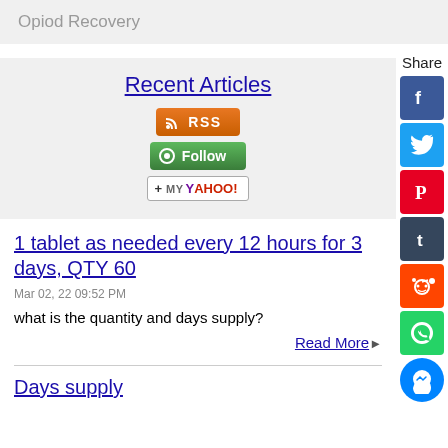Opiod Recovery
Recent Articles
[Figure (infographic): RSS button, Follow button, Add to My Yahoo button]
1 tablet as needed every 12 hours for 3 days, QTY 60
Mar 02, 22 09:52 PM
what is the quantity and days supply?
Read More
Days supply